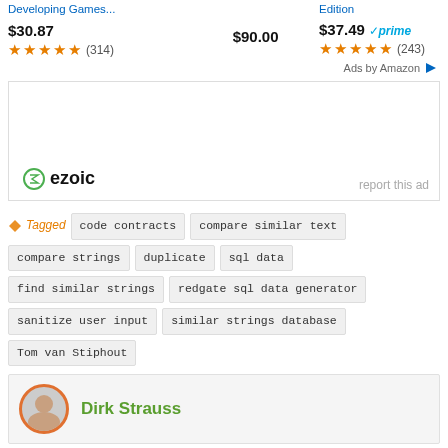Developing Games...
$30.87 ★★★★½ (314)
$90.00
Edition
$37.49 ✓prime ★★★★½ (243)
Ads by Amazon
[Figure (other): Ezoic ad placeholder box with 'report this ad' text and ezoic logo]
Tagged  code contracts  compare similar text  compare strings  duplicate  sql data  find similar strings  redgate sql data generator  sanitize user input  similar strings database  Tom van Stiphout
Dirk Strauss
[Figure (other): DirectRelief banner ad: Help send medical aid to Ukraine >>]